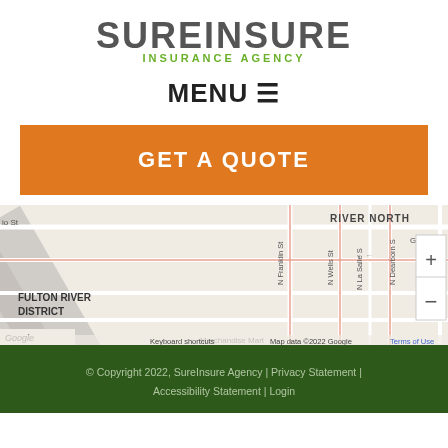[Figure (logo): SureInsure Insurance Agency logo — large grey bold SUREINSURE text with green INSURANCE AGENCY subtitle]
MENU ☰
GET A QUOTE
[Figure (map): Google Maps showing River North / Fulton River District area of Chicago with street labels including N Franklin St, N Wells St, N La Salle S, N Dearborn S. Shows Keyboard shortcuts, Map data ©2022 Google, Terms of Use. Zoom +/- controls visible.]
© Copyright 2022, SureInsure Agency | Privacy Statement | Accessibility Statement | Login